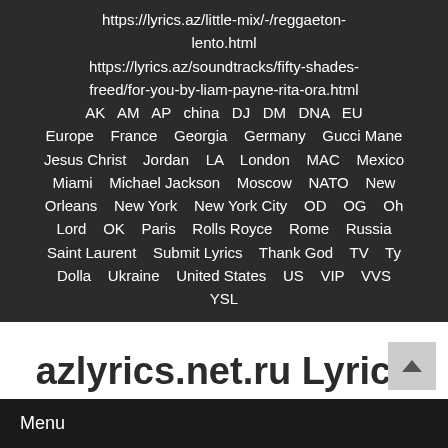https://lyrics.az/little-mix/-/reggaeton-lento.html https://lyrics.az/soundtracks/fifty-shades-freed/for-you-by-liam-payne-rita-ora.html AK AM AP china DJ DM DNA EU Europe France Georgia Germany Gucci Mane Jesus Christ Jordan LA London MAC Mexico Miami Michael Jackson Moscow NATO New Orleans New York New York City OD OG Oh Lord OK Paris Rolls Royce Rome Russia Saint Laurent Submit Lyrics Thank God TV Ty Dolla Ukraine United States US VIP VVS YSL
azlyrics.net.ru Lyrics
azlyrics.net.ru Lyrics
Menu